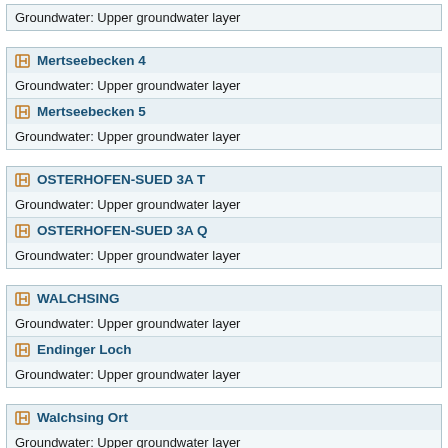Groundwater: Upper groundwater layer
Mertseebecken 4
Groundwater: Upper groundwater layer
Mertseebecken 5
Groundwater: Upper groundwater layer
OSTERHOFEN-SUED 3A T
Groundwater: Upper groundwater layer
OSTERHOFEN-SUED 3A Q
Groundwater: Upper groundwater layer
WALCHSING
Groundwater: Upper groundwater layer
Endinger Loch
Groundwater: Upper groundwater layer
Walchsing Ort
Groundwater: Upper groundwater layer